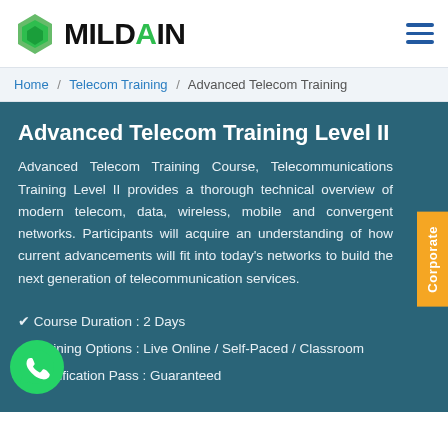MILDAIN
Home / Telecom Training / Advanced Telecom Training
Advanced Telecom Training Level II
Advanced Telecom Training Course, Telecommunications Training Level II provides a thorough technical overview of modern telecom, data, wireless, mobile and convergent networks. Participants will acquire an understanding of how current advancements will fit into today's networks to build the next generation of telecommunication services.
Course Duration : 2 Days
Training Options : Live Online / Self-Paced / Classroom
Certification Pass : Guaranteed